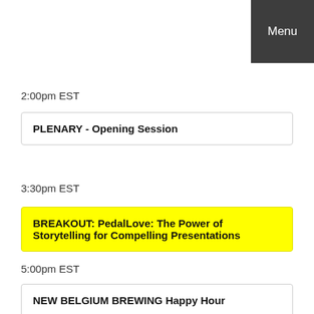Menu
2:00pm EST
PLENARY - Opening Session
3:30pm EST
BREAKOUT: PedalLove: The Power of Storytelling for Compelling Presentations
5:00pm EST
NEW BELGIUM BREWING Happy Hour